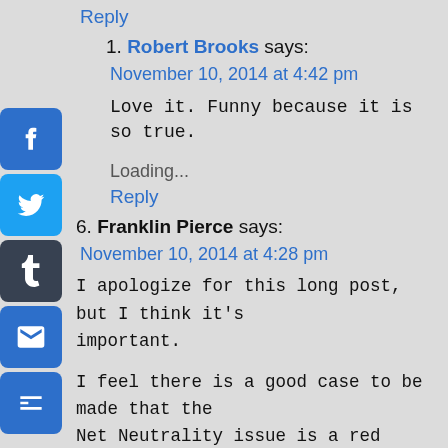Reply
1. Robert Brooks says:
November 10, 2014 at 4:42 pm
Love it. Funny because it is so true.
Loading...
Reply
6. Franklin Pierce says:
November 10, 2014 at 4:28 pm
I apologize for this long post, but I think it's important.
I feel there is a good case to be made that the Net Neutrality issue is a red herring. Net Neutrality is crucial for innovation and free market competition and just plain fairness. This